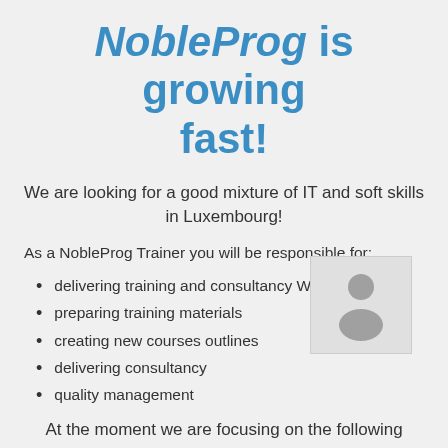NobleProg is growing fast!
We are looking for a good mixture of IT and soft skills in Luxembourg!
As a NobleProg Trainer you will be responsible for:
delivering training and consultancy Worldwide
preparing training materials
creating new courses outlines
delivering consultancy
quality management
[Figure (illustration): Person/user silhouette icon in a light grey box]
At the moment we are focusing on the following areas: